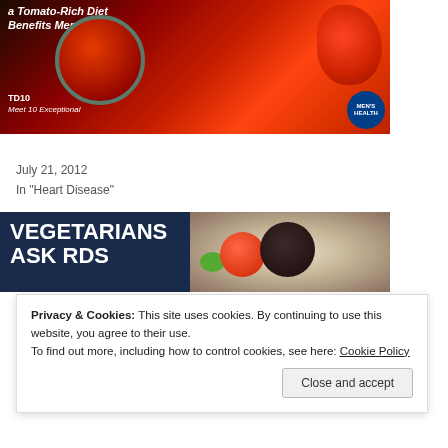[Figure (photo): Magazine cover snippet showing a tomato soup bowl and fresh tomatoes with text 'a Tomato-Rich Diet Benefits Men', 'TD10 Meet 10 Exceptional', and Men's Health badge]
Young Women and Heart Attacks
July 21, 2012
In "Heart Disease"
[Figure (photo): Banner image reading VEGETARIANS ASK RDs with a plate of grilled vegetables including tomatoes, eggplant, and green vegetables on a dark blue background]
Privacy & Cookies: This site uses cookies. By continuing to use this website, you agree to their use.
To find out more, including how to control cookies, see here: Cookie Policy
Recap of FNCE 2014